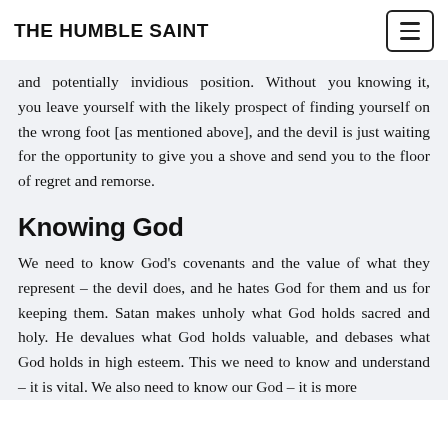THE HUMBLE SAINT
and potentially invidious position. Without you knowing it, you leave yourself with the likely prospect of finding yourself on the wrong foot [as mentioned above], and the devil is just waiting for the opportunity to give you a shove and send you to the floor of regret and remorse.
Knowing God
We need to know God's covenants and the value of what they represent – the devil does, and he hates God for them and us for keeping them. Satan makes unholy what God holds sacred and holy. He devalues what God holds valuable, and debases what God holds in high esteem. This we need to know and understand – it is vital. We also need to know our God – it is more